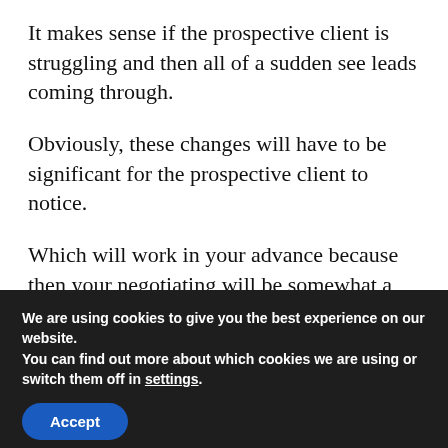It makes sense if the prospective client is struggling and then all of a sudden see leads coming through.
Obviously, these changes will have to be significant for the prospective client to notice.
Which will work in your advance because then your negotiating will be somewhat a little easier.
We are using cookies to give you the best experience on our website.
You can find out more about which cookies we are using or switch them off in settings.
Accept